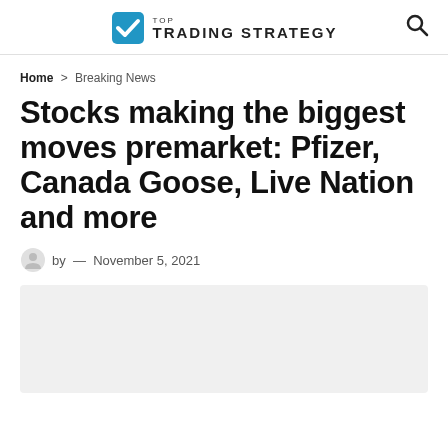TOP TRADING STRATEGY
Home > Breaking News
Stocks making the biggest moves premarket: Pfizer, Canada Goose, Live Nation and more
by — November 5, 2021
[Figure (other): Gray placeholder image block below article metadata]